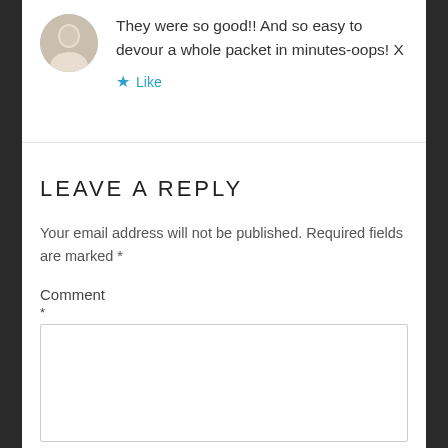They were so good!! And so easy to devour a whole packet in minutes-oops! X
Like
LEAVE A REPLY
Your email address will not be published. Required fields are marked *
Comment *